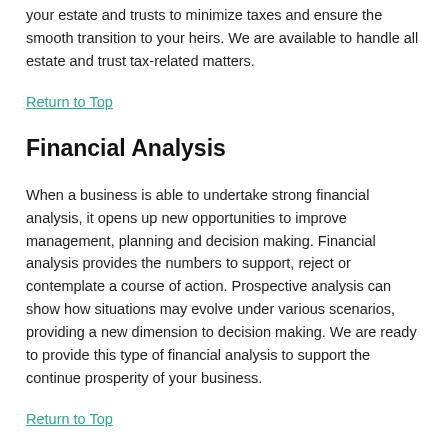your estate and trusts to minimize taxes and ensure the smooth transition to your heirs. We are available to handle all estate and trust tax-related matters.
Return to Top
Financial Analysis
When a business is able to undertake strong financial analysis, it opens up new opportunities to improve management, planning and decision making. Financial analysis provides the numbers to support, reject or contemplate a course of action. Prospective analysis can show how situations may evolve under various scenarios, providing a new dimension to decision making. We are ready to provide this type of financial analysis to support the continue prosperity of your business.
Return to Top